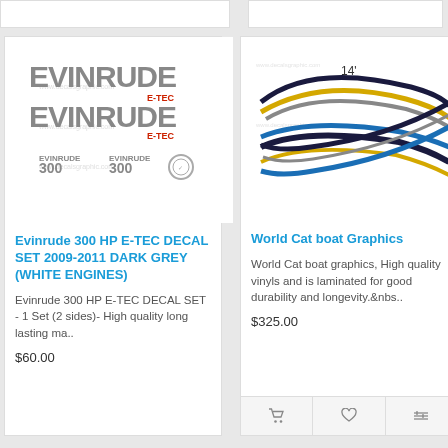[Figure (photo): Evinrude 300 HP E-TEC decal set product image showing grey Evinrude logo decals]
Evinrude 300 HP E-TEC DECAL SET 2009-2011 DARK GREY (WHITE ENGINES)
Evinrude 300 HP E-TEC DECAL SET - 1 Set (2 sides)- High quality long lasting ma..
$60.00
[Figure (photo): World Cat boat graphics product image showing colorful boat graphic design with 14' label]
World Cat boat Graphics
World Cat boat graphics, High quality vinyls and is laminated for good durability and longevity.&nbs..
$325.00